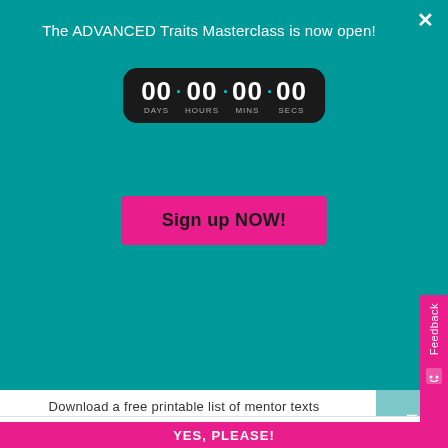The ADVANCED Traits Masterclass is now open!
[Figure (other): Countdown timer showing 00 DAYS . 00 HOURS . 00 MINS . 00 SECS in a dark rounded rectangle]
Sign up NOW!
Loves Books
—
Download a free printable list of mentor texts
YOUR EMAIL ADDRESS...
YES, PLEASE!
Feedback